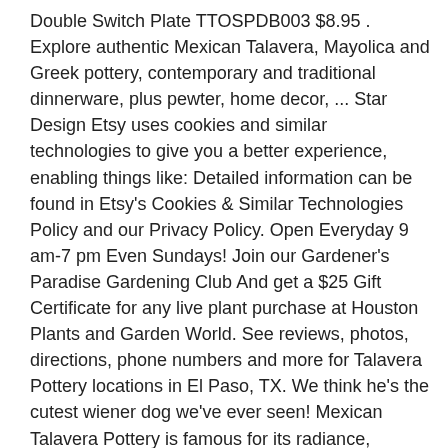Double Switch Plate TTOSPDB003 $8.95 . Explore authentic Mexican Talavera, Mayolica and Greek pottery, contemporary and traditional dinnerware, plus pewter, home decor, ... Star Design Etsy uses cookies and similar technologies to give you a better experience, enabling things like: Detailed information can be found in Etsy's Cookies & Similar Technologies Policy and our Privacy Policy. Open Everyday 9 am-7 pm Even Sundays! Join our Gardener's Paradise Gardening Club And get a $25 Gift Certificate for any live plant purchase at Houston Plants and Garden World. See reviews, photos, directions, phone numbers and more for Talavera Pottery locations in El Paso, TX. We think he's the cutest wiener dog we've ever seen! Mexican Talavera Pottery is famous for its radiance, intriguing textures, and rich history. Huge collection, amazing choice, 100+ million high quality, affordable RF and RM images. Set where you live, what language you speak, and the currency you use. Over time,